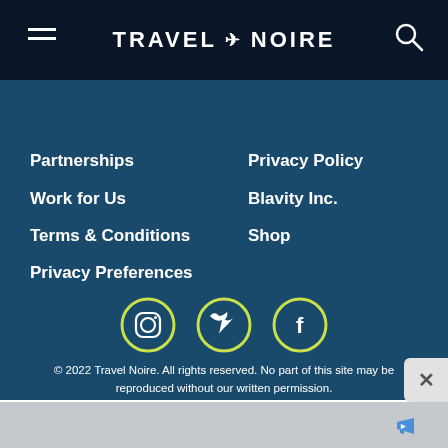TRAVEL + NOIRE
Partnerships
Privacy Policy
Work for Us
Blavity Inc.
Terms & Conditions
Shop
Privacy Preferences
[Figure (illustration): Three circular social media icons with yellow-green borders on teal background: Instagram, Twitter, Facebook]
© 2022 Travel Noire. All rights reserved. No part of this site may be reproduced without our written permission.